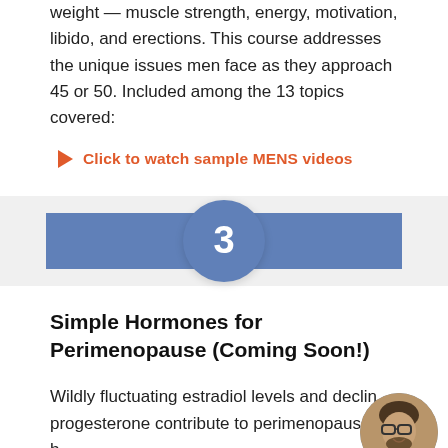weight — muscle strength, energy, motivation, libido, and erections. This course addresses the unique issues men face as they approach 45 or 50. Included among the 13 topics covered:
▶ Click to watch sample MENS videos
3
Simple Hormones for Perimenopause (Coming Soon!)
Wildly fluctuating estradiol levels and declining progesterone contribute to perimenopause b...
[Figure (photo): Circular avatar photo of a man with glasses and a beard, smiling, with a 'Send An Email' label overlay at the bottom]